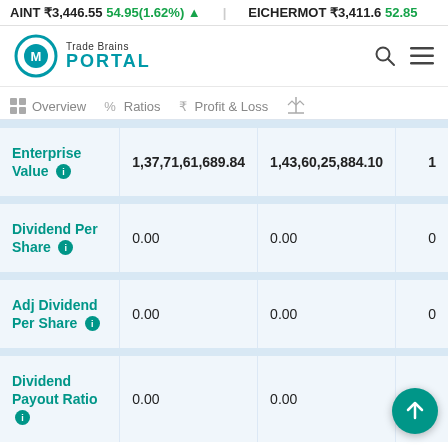AINT ₹3,446.55 54.95(1.62%) ▲   EICHERMOT ₹3,411.6 52.85
[Figure (logo): Trade Brains Portal logo with teal circular icon and text]
Overview   Ratios   Profit & Loss
| Metric | Value 1 | Value 2 | Value 3 |
| --- | --- | --- | --- |
| Enterprise Value | 1,37,71,61,689.84 | 1,43,60,25,884.10 | 1 |
| Dividend Per Share | 0.00 | 0.00 | 0 |
| Adj Dividend Per Share | 0.00 | 0.00 | 0 |
| Dividend Payout Ratio | 0.00 | 0.00 |  |